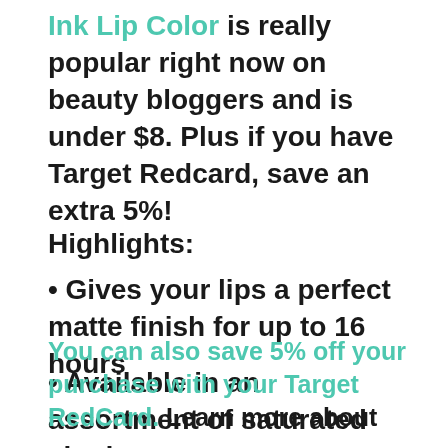Ink Lip Color is really popular right now on beauty bloggers and is under $8. Plus if you have Target Redcard, save an extra 5%!
Highlights:
• Gives your lips a perfect matte finish for up to 16 hours
• Available in an assortment of saturated shades
• Includes an arrow applicator for flawless application
You can also save 5% off your purchase with your Target RedCard. Learn more about